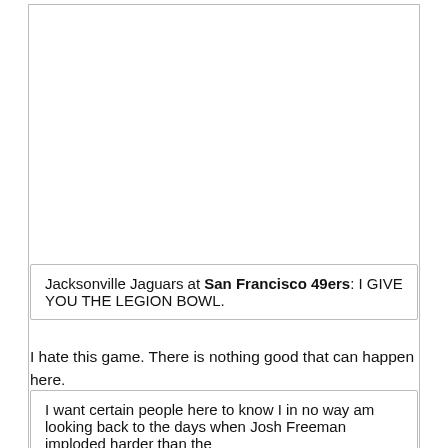Jacksonville Jaguars at San Francisco 49ers: I GIVE YOU THE LEGION BOWL.
I hate this game. There is nothing good that can happen here.
I want certain people here to know I in no way am looking back to the days when Josh Freeman imploded harder than the